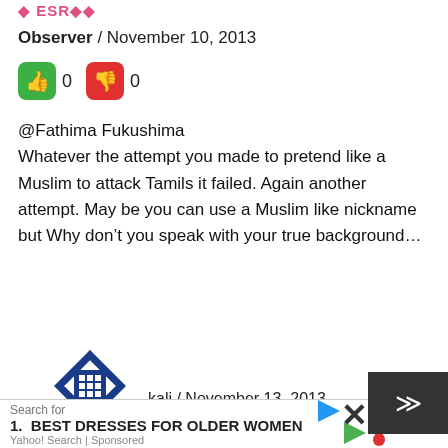Observer / November 10, 2013
[Figure (infographic): Thumbs up (green) 0, Thumbs down (red) 0 vote buttons]
@Fathima Fukushima
Whatever the attempt you made to pretend like a Muslim to attack Tamils it failed. Again another attempt. May be you can use a Muslim like nickname but Why don’t you speak with your true background…
[Figure (logo): Blue geometric square pattern avatar icon]
kali / November 13, 2013
Search for
1. BEST DRESSES FOR OLDER WOMEN
Yahoo! Search | Sponsored